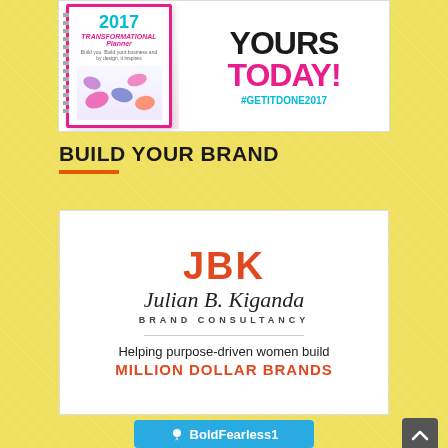[Figure (infographic): 2017 Transformational Planner advertisement with spiral-bound planner image on left, text 'YOURS TODAY!' and '#GETITDONE2017' on right]
BUILD YOUR BRAND
[Figure (logo): Julian B. Kiganda Brand Consultancy logo with orange JBK letters, script name, and tagline 'Helping purpose-driven women build MILLION DOLLAR BRANDS']
[Figure (other): BoldFearless1 Periscope button in teal/blue color]